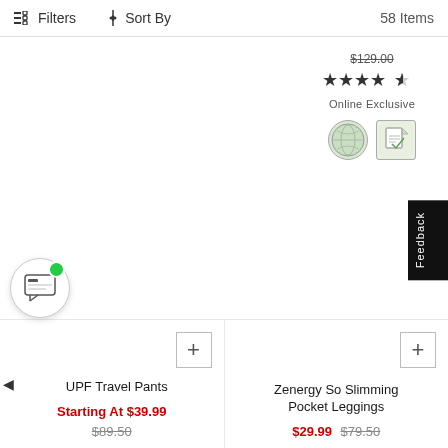Filters   Sort By   58 Items
Online Exclusive
[Figure (screenshot): Two color swatch thumbnail images]
Zenergy UPF Travel Pants
UPF Travel Pants  Starting At $39.99  $89.50
Zenergy So Slimming Pocket Leggings  $29.99  $79.50
Feedback